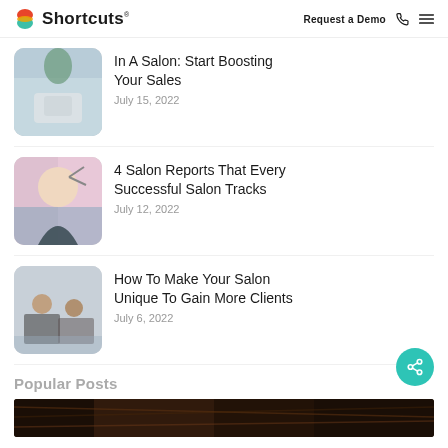Shortcuts | Request a Demo
[Figure (photo): Partial article thumbnail - salon interior]
In A Salon: Start Boosting Your Sales
July 15, 2022
[Figure (photo): Woman hairstylist holding scissors, smiling]
4 Salon Reports That Every Successful Salon Tracks
July 12, 2022
[Figure (photo): People sitting at salon styling stations]
How To Make Your Salon Unique To Gain More Clients
July 6, 2022
Popular Posts
[Figure (photo): Dark hair close-up image strip at bottom]